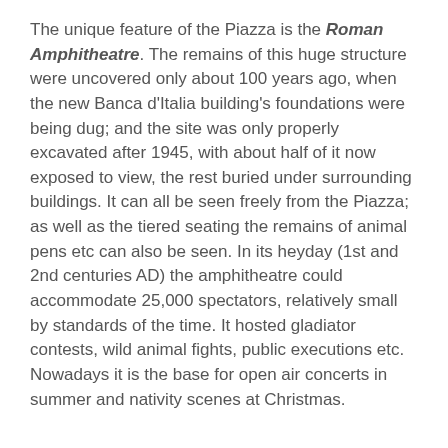The unique feature of the Piazza is the Roman Amphitheatre. The remains of this huge structure were uncovered only about 100 years ago, when the new Banca d'Italia building's foundations were being dug; and the site was only properly excavated after 1945, with about half of it now exposed to view, the rest buried under surrounding buildings. It can all be seen freely from the Piazza; as well as the tiered seating the remains of animal pens etc can also be seen. In its heyday (1st and 2nd centuries AD) the amphitheatre could accommodate 25,000 spectators, relatively small by standards of the time. It hosted gladiator contests, wild animal fights, public executions etc. Nowadays it is the base for open air concerts in summer and nativity scenes at Christmas.